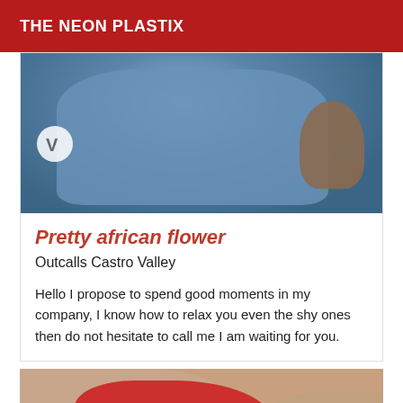THE NEON PLASTIX
[Figure (photo): Photo of a person wearing a blue shirt, partial body view from above]
Pretty african flower
Outcalls Castro Valley
Hello I propose to spend good moments in my company, I know how to relax you even the shy ones then do not hesitate to call me I am waiting for you.
[Figure (photo): Close-up photo showing red fabric and skin tones]